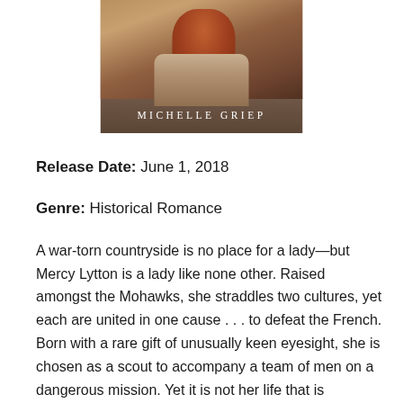[Figure (illustration): Book cover showing a woman with red/auburn hair in historical dress, with author name MICHELLE GRIEP in white letters near bottom of cover]
Release Date: June 1, 2018
Genre: Historical Romance
A war-torn countryside is no place for a lady—but Mercy Lytton is a lady like none other. Raised amongst the Mohawks, she straddles two cultures, yet each are united in one cause . . . to defeat the French. Born with a rare gift of unusually keen eyesight, she is chosen as a scout to accompany a team of men on a dangerous mission. Yet it is not her life that is threatened. It is her heart.
Condemned as a traitor, Elias Dubois faces the gallows. At the last minute, he's offered his freedom if he consents to